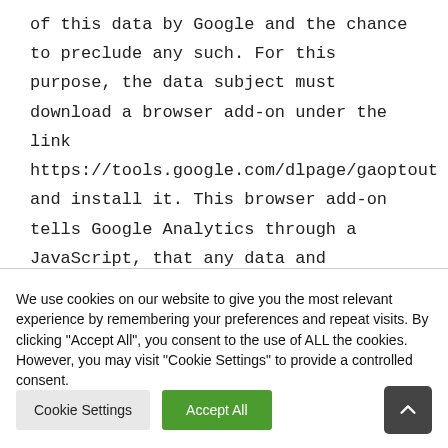of this data by Google and the chance to preclude any such. For this purpose, the data subject must download a browser add-on under the link https://tools.google.com/dlpage/gaoptout and install it. This browser add-on tells Google Analytics through a JavaScript, that any data and information about the visits of Internet pages may not be transmitted to Google Analytics. The
We use cookies on our website to give you the most relevant experience by remembering your preferences and repeat visits. By clicking "Accept All", you consent to the use of ALL the cookies. However, you may visit "Cookie Settings" to provide a controlled consent.